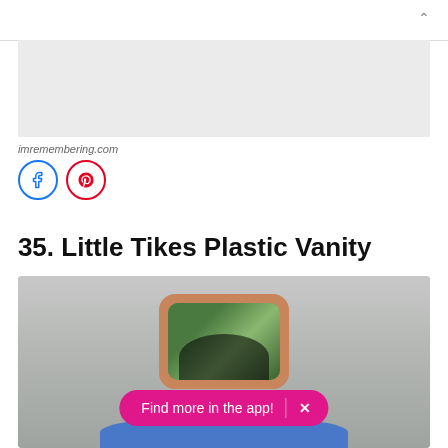[Figure (screenshot): Top navigation bar with chevron up arrow on the right side]
[Figure (other): Gray advertisement banner placeholder]
imremembering.com
[Figure (other): Social share icons: Facebook (blue circle) and Pinterest (red circle)]
35. Little Tikes Plastic Vanity
[Figure (photo): Photo of a Little Tikes plastic toy vanity with a tan/brown mirror frame reflecting green foliage, mounted on a gray plastic body with a blue base. A pink 'Find more in the app!' pill button overlays the bottom of the image with an X close button.]